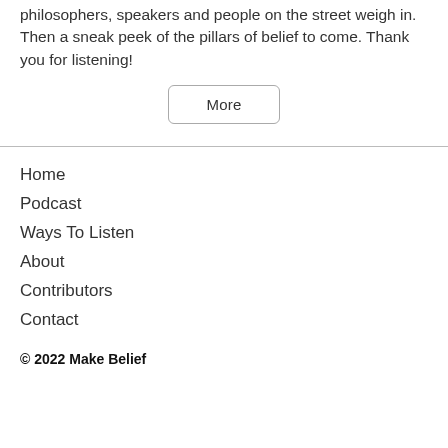philosophers, speakers and people on the street weigh in. Then a sneak peek of the pillars of belief to come. Thank you for listening!
More
Home
Podcast
Ways To Listen
About
Contributors
Contact
© 2022 Make Belief